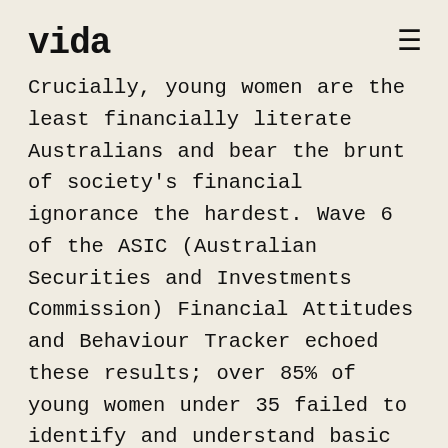vida ≡
Crucially, young women are the least financially literate Australians and bear the brunt of society's financial ignorance the hardest. Wave 6 of the ASIC (Australian Securities and Investments Commission) Financial Attitudes and Behaviour Tracker echoed these results; over 85% of young women under 35 failed to identify and understand basic financial and investment concepts. A sizeable gender gap in financial literacy exists, with evidence to suggest that this knowledge divide manifests during teen and pre-teen years, where parents often reserve conversations about personal finance topics such as investing and wealth